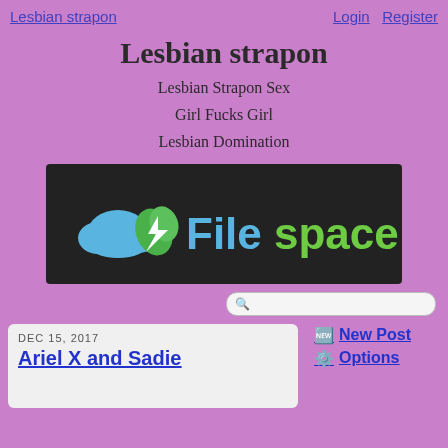Lesbian strapon    Login  Register
Lesbian strapon
Lesbian Strapon Sex
Girl Fucks Girl
Lesbian Domination
[Figure (logo): Filespace logo on dark background with cloud and leaf icon]
Search bar
DEC 15, 2017
Ariel X and Sadie
New Post
Options